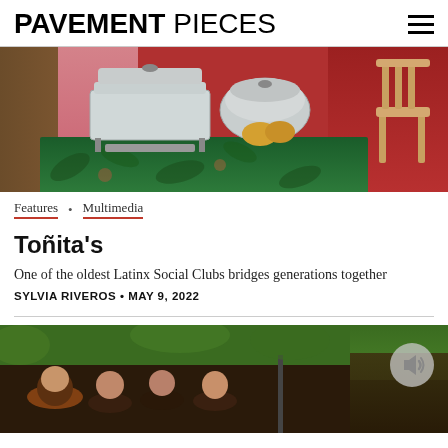PAVEMENT PIECES
[Figure (photo): Food buffet scene with chafing dishes on a tropical print tablecloth, red curtains in background, wooden chair on the right, wood paneling on the left.]
Features • Multimedia
Toñita's
One of the oldest Latinx Social Clubs bridges generations together
SYLVIA RIVEROS • MAY 9, 2022
[Figure (photo): Group of people smiling outdoors with green foliage in background, with an audio/speaker icon overlay in the upper right.]